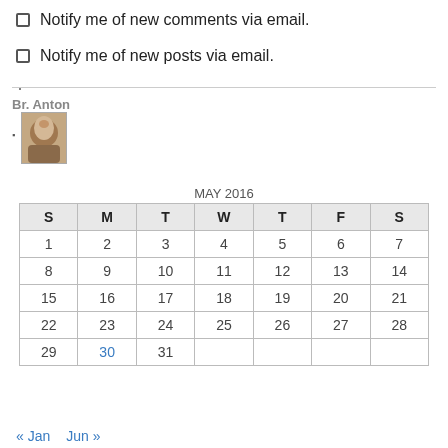Notify me of new comments via email.
Notify me of new posts via email.
Br. Anton
[avatar image]
| MAY 2016 |  |  |  |  |  |  |
| --- | --- | --- | --- | --- | --- | --- |
| S | M | T | W | T | F | S |
| 1 | 2 | 3 | 4 | 5 | 6 | 7 |
| 8 | 9 | 10 | 11 | 12 | 13 | 14 |
| 15 | 16 | 17 | 18 | 19 | 20 | 21 |
| 22 | 23 | 24 | 25 | 26 | 27 | 28 |
| 29 | 30 | 31 |  |  |  |  |
« Jan   Jun »